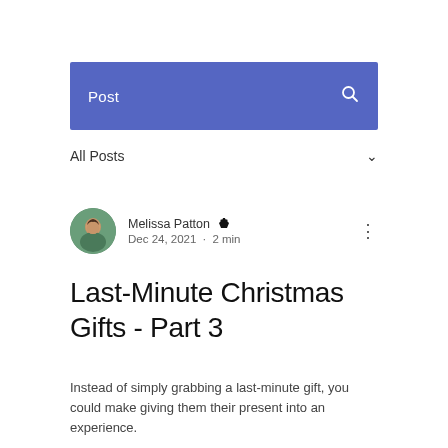Post
All Posts
[Figure (photo): Circular avatar photo of Melissa Patton, a smiling woman outdoors]
Melissa Patton ♛
Dec 24, 2021 · 2 min
Last-Minute Christmas Gifts - Part 3
Instead of simply grabbing a last-minute gift, you could make giving them their present into an experience.